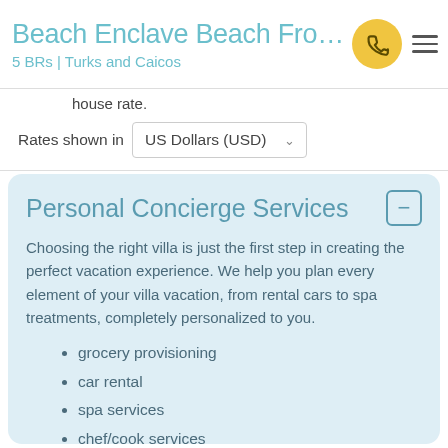Beach Enclave Beach Fro…
5 BRs | Turks and Caicos
house rate.
Rates shown in US Dollars (USD)
Personal Concierge Services
Choosing the right villa is just the first step in creating the perfect vacation experience. We help you plan every element of your villa vacation, from rental cars to spa treatments, completely personalized to you.
grocery provisioning
car rental
spa services
chef/cook services
butler service
restaurant reservations
activities and sightseeing